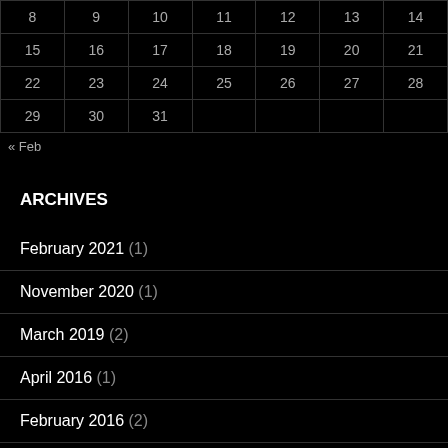| 8 | 9 | 10 | 11 | 12 | 13 | 14 |
| 15 | 16 | 17 | 18 | 19 | 20 | 21 |
| 22 | 23 | 24 | 25 | 26 | 27 | 28 |
| 29 | 30 | 31 |  |  |  |  |
« Feb
ARCHIVES
February 2021 (1)
November 2020 (1)
March 2019 (2)
April 2016 (1)
February 2016 (2)
January 2016 (1)